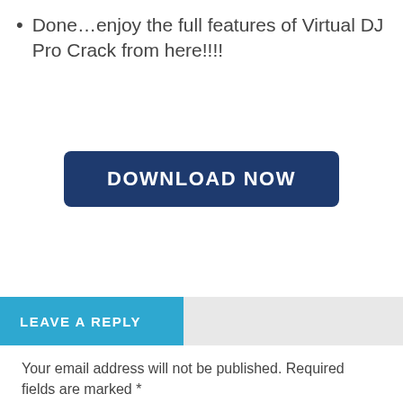Done…enjoy the full features of Virtual DJ Pro Crack from here!!!!
[Figure (other): Download Now button — dark navy blue rounded rectangle with bold white text reading DOWNLOAD NOW]
LEAVE A REPLY
Your email address will not be published. Required fields are marked *
Comment *